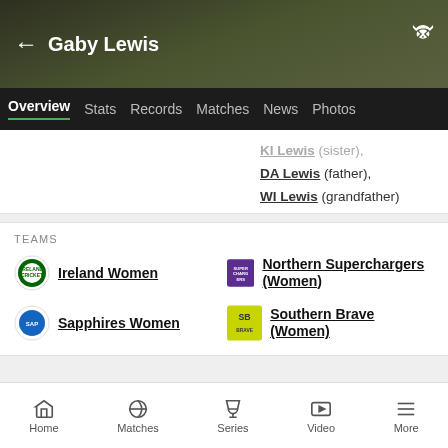Gaby Lewis
Overview  Stats  Records  Matches  News  Photos
KI Lewis (sister), DA Lewis (father), WI Lewis (grandfather)
TEAMS
Ireland Women
Northern Superchargers (Women)
Sapphires Women
Southern Brave (Women)
Career Averages
Batting & Fielding
Home  Matches  Series  Video  More